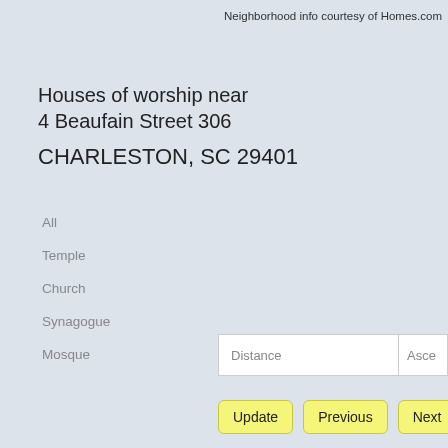Neighborhood info courtesy of Homes.com
Houses of worship near 4 Beaufain Street 306
CHARLESTON, SC 29401
All
Temple
Church
Synagogue
Mosque
Distance  ▾
Asce
Update   Previous   Next